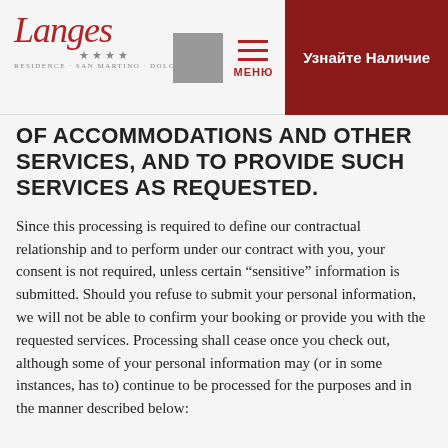Langes Residence - San Martino - Dolomiti | Узнайте Наличие
OF ACCOMMODATIONS AND OTHER SERVICES, AND TO PROVIDE SUCH SERVICES AS REQUESTED.
Since this processing is required to define our contractual relationship and to perform under our contract with you, your consent is not required, unless certain “sensitive” information is submitted. Should you refuse to submit your personal information, we will not be able to confirm your booking or provide you with the requested services. Processing shall cease once you check out, although some of your personal information may (or in some instances, has to) continue to be processed for the purposes and in the manner described below: